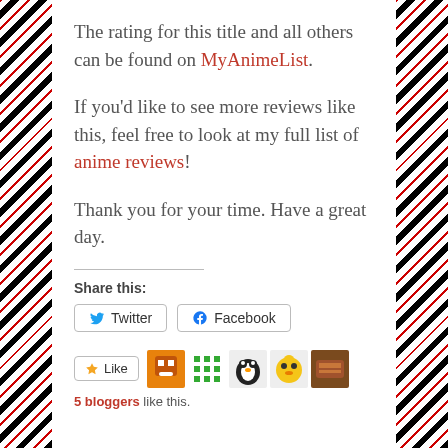The rating for this title and all others can be found on MyAnimeList.
If you'd like to see more reviews like this, feel free to look at my full list of anime reviews!
Thank you for your time. Have a great day.
Share this:
[Figure (screenshot): Share buttons: Twitter and Facebook]
[Figure (screenshot): Like button with 5 blogger avatars and '5 bloggers like this.' text]